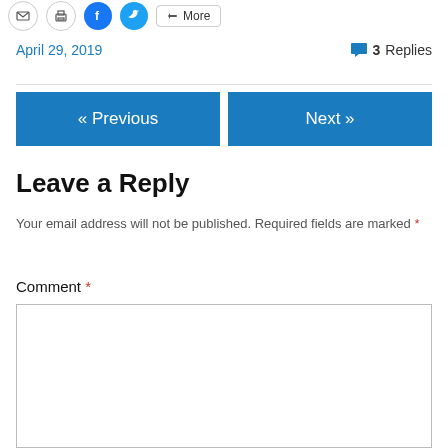[Figure (other): Social share buttons: email, print, Facebook, Twitter, More]
April 29, 2019
3 Replies
« Previous
Next »
Leave a Reply
Your email address will not be published. Required fields are marked *
Comment *